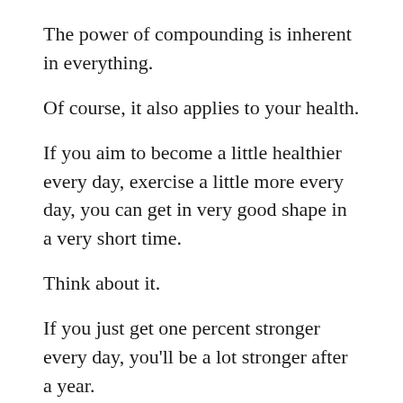The power of compounding is inherent in everything.
Of course, it also applies to your health.
If you aim to become a little healthier every day, exercise a little more every day, you can get in very good shape in a very short time.
Think about it.
If you just get one percent stronger every day, you'll be a lot stronger after a year.